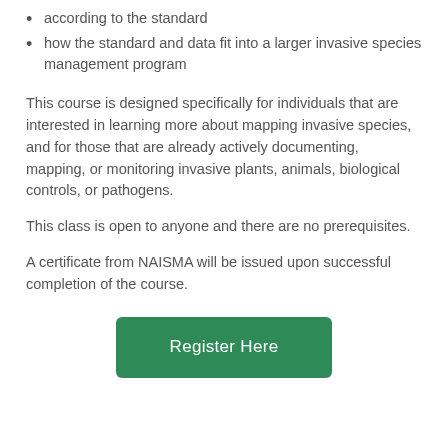according to the standard
how the standard and data fit into a larger invasive species management program
This course is designed specifically for individuals that are interested in learning more about mapping invasive species, and for those that are already actively documenting, mapping, or monitoring invasive plants, animals, biological controls, or pathogens.
This class is open to anyone and there are no prerequisites.
A certificate from NAISMA will be issued upon successful completion of the course.
Register Here